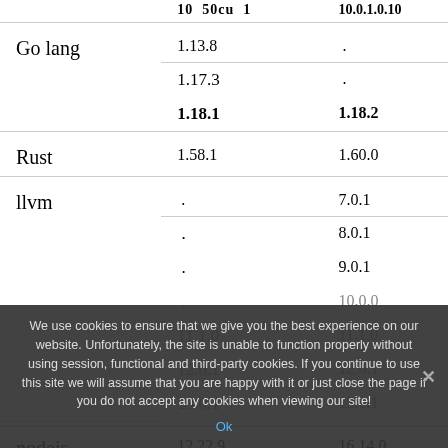|  |  |  |
| --- | --- | --- |
|  | 10  50cu  1 | 10.0.1.0.10 |
| Go lang | 1.13.8 | . |
|  | 1.17.3 | . |
|  | 1.18.1 | 1.18.2 |
| Rust | 1.58.1 | 1.60.0 |
| llvm | . | 7.0.1 |
|  | . | 8.0.1 |
|  | . | 9.0.1 |
|  | . | 10.0.0 |
|  | 11.1.0 | 11.1.0 |
|  | 12.0.1 | 12.0.1 |
|  | 13.0.1 | 13.0.1 |
|  | 14.0.0 | 14.0.0 |
| nodejs | 12.22.9 | 16.14.0 |